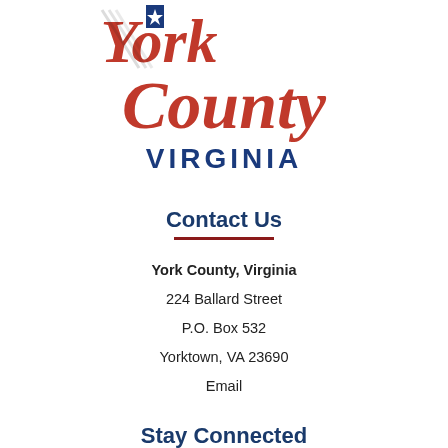[Figure (logo): York County Virginia official logo with red script 'York County' text, blue star graphic, and blue 'VIRGINIA' text in caps]
Contact Us
York County, Virginia
224 Ballard Street
P.O. Box 532
Yorktown, VA 23690
Email
Stay Connected